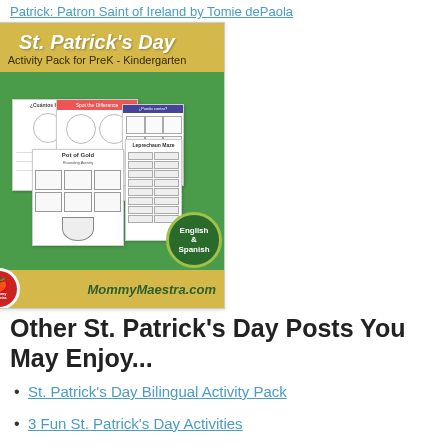Patrick: Patron Saint of Ireland by Tomie dePaola
[Figure (illustration): St. Patrick's Day Activity Pack for PreK - Kindergarten product image from MommyMaestra.com, showing worksheets with activities including spot the difference, vocabulary, leprechaun maze, pot of gold rounding activity. English & Spanish badge shown.]
Other St. Patrick's Day Posts You May Enjoy...
St. Patrick's Day Bilingual Activity Pack
3 Fun St. Patrick's Day Activities